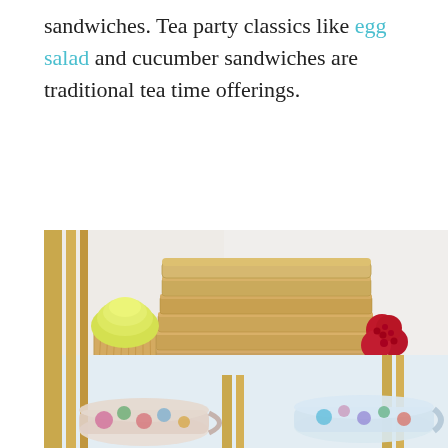sandwiches. Tea party classics like egg salad and cucumber sandwiches are traditional tea time offerings.
[Figure (photo): A tiered tea party stand showing a stack of rectangular sandwiches on a white round plate, surrounded by fresh red raspberries, a cupcake with yellow frosting on the left, and floral teacups visible in the background below.]
[Figure (photo): Lower portion of a tiered tea party cart with gold/brass poles, showing floral teacups and teapot at the bottom, slightly out of focus.]